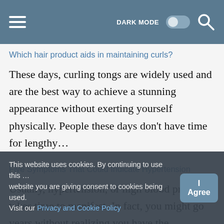DARK MODE [toggle] [search]
Which hair product aids in maintaining curls?
These days, curling tongs are widely used and are the best way to achieve a stunning appearance without exerting yourself physically. People these days don't have time for lengthy…
Five Symptoms That Could Indicate Hypertension
Usually, hypertension, or high blood pressure, takes time to manifest. In fact, you might go years without realizing you have the condition. That's significant
This website uses cookies. By continuing to use this … website you are giving consent to cookies being used. Visit our Privacy and Cookie Policy
Five Ways to Increase TikTok Followers for Your New